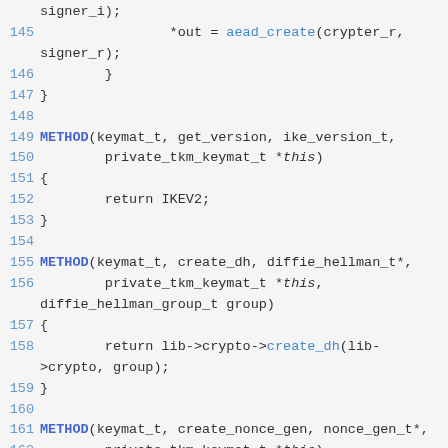Source code listing lines 145-164 showing C/C++ method definitions for a keymat interface including aead_create, get_version, create_dh, and create_nonce_gen methods.